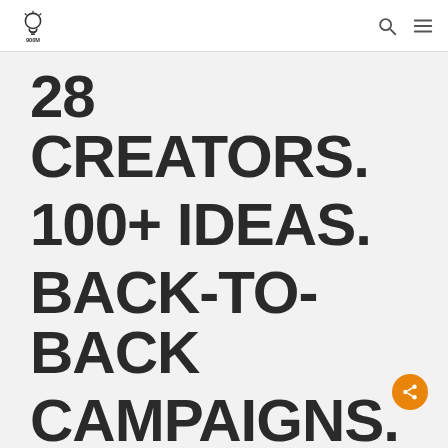900M Media logo, search icon, menu icon
28 CREATORS.
100+ IDEAS.
BACK-TO-BACK
CAMPAIGNS.
BOOM
[Figure (logo): Share button (orange circle with share icon)]